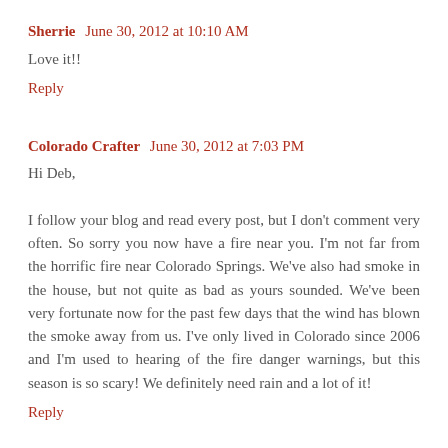Sherrie  June 30, 2012 at 10:10 AM
Love it!!
Reply
Colorado Crafter  June 30, 2012 at 7:03 PM
Hi Deb,

I follow your blog and read every post, but I don't comment very often. So sorry you now have a fire near you. I'm not far from the horrific fire near Colorado Springs. We've also had smoke in the house, but not quite as bad as yours sounded. We've been very fortunate now for the past few days that the wind has blown the smoke away from us. I've only lived in Colorado since 2006 and I'm used to hearing of the fire danger warnings, but this season is so scary! We definitely need rain and a lot of it!
Reply